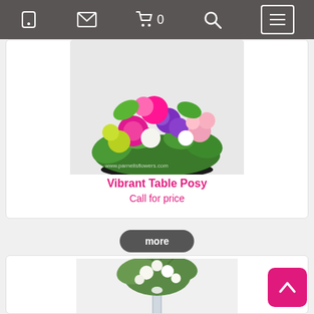Navigation bar with phone, email, cart (0), search, and menu icons
[Figure (photo): Vibrant colorful flower arrangement table posy with pink, purple, green, and white flowers in a bowl, watermarked with www.parnellsflowers.com]
Vibrant Table Posy
Call for price
more
[Figure (photo): Tall elegant white flower arrangement on a silver/glass pedestal with greenery, surrounded by a lower wreath of foliage at the base]